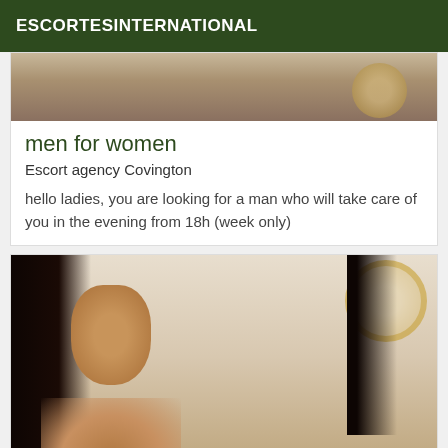ESCORTESINTERNATIONAL
[Figure (photo): Cropped top portion of a photo showing a person near a harp or musical instrument with a mirror in background]
men for women
Escort agency Covington
hello ladies, you are looking for a man who will take care of you in the evening from 18h (week only)
[Figure (photo): Photo of a dark-haired woman with long black hair, looking at the camera, with a round gold-framed mirror and wooden chair in background]